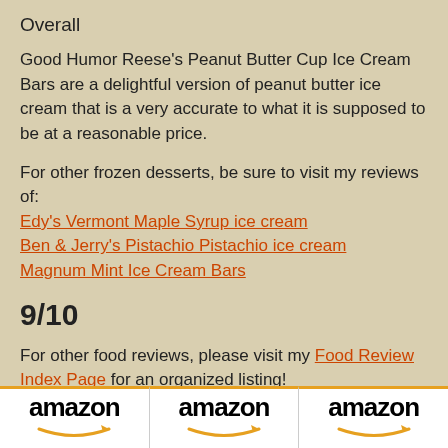Overall
Good Humor Reese's Peanut Butter Cup Ice Cream Bars are a delightful version of peanut butter ice cream that is a very accurate to what it is supposed to be at a reasonable price.
For other frozen desserts, be sure to visit my reviews of:
Edy's Vermont Maple Syrup ice cream
Ben & Jerry's Pistachio Pistachio ice cream
Magnum Mint Ice Cream Bars
9/10
For other food reviews, please visit my Food Review Index Page for an organized listing!
© 2017 W.L. Swarts. May not be reprinted without permission.
[Figure (logo): Three Amazon logo tiles with orange arrow, shown at the bottom of the page]